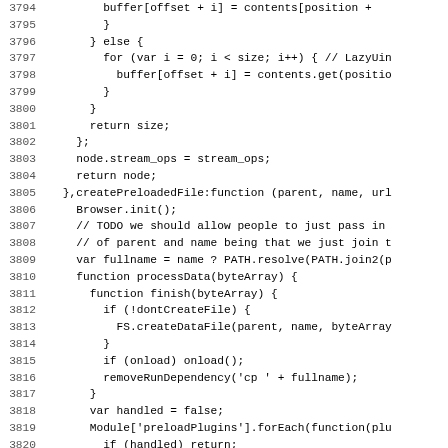Source code listing, lines 3794–3826, JavaScript code including buffer operations, stream_ops, createPreloadedFile function, processData, finish, and plugin handling logic.